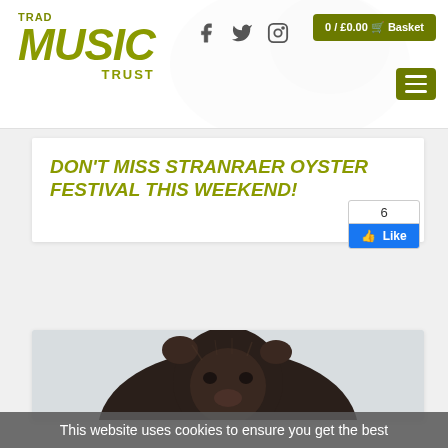TRAD MUSIC TRUST — 0 / £0.00 Basket
DON'T MISS STRANRAER OYSTER FESTIVAL THIS WEEKEND!
[Figure (screenshot): Facebook Like button showing count of 6 with blue Like button]
[Figure (photo): Close-up photo of a dark-furred animal (cow or similar) looking upward against a pale sky]
This website uses cookies to ensure you get the best